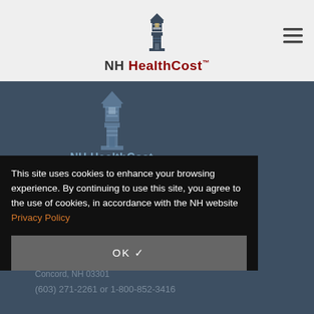[Figure (logo): NH HealthCost lighthouse logo with text in header bar]
[Figure (logo): NH HealthCost lighthouse logo (dark version) in dark section]
Contact Us
This site uses cookies to enhance your browsing experience. By continuing to use this site, you agree to the use of cookies, in accordance with the NH website Privacy Policy
OK ✓
Concord, NH 03301
(603) 271-2261 or 1-800-852-3416